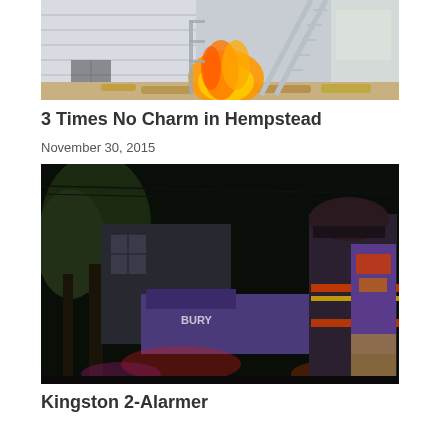[Figure (photo): Photo of a house fire with flames visible near the foundation and a ladder leaning against the building, autumn leaves on the ground]
3 Times No Charm in Hempstead
November 30, 2015
[Figure (photo): Nighttime photo of firefighters and fire trucks at a scene, with a ladder truck visible and a firefighter in the foreground in gear with reflective stripes]
Kingston 2-Alarmer